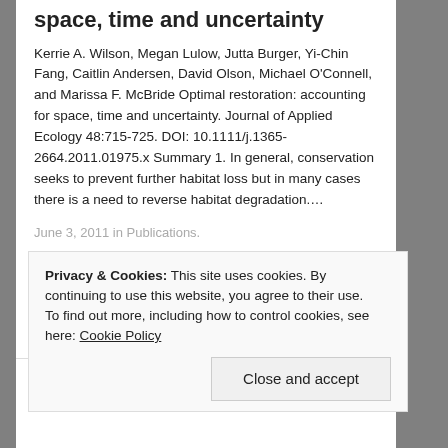space, time and uncertainty
Kerrie A. Wilson, Megan Lulow, Jutta Burger, Yi-Chin Fang, Caitlin Andersen, David Olson, Michael O'Connell, and Marissa F. McBride Optimal restoration: accounting for space, time and uncertainty. Journal of Applied Ecology 48:715-725. DOI: 10.1111/j.1365-2664.2011.01975.x Summary 1. In general, conservation seeks to prevent further habitat loss but in many cases there is a need to reverse habitat degradation.…
June 3, 2011 in Publications.
Privacy & Cookies: This site uses cookies. By continuing to use this website, you agree to their use.
To find out more, including how to control cookies, see here: Cookie Policy